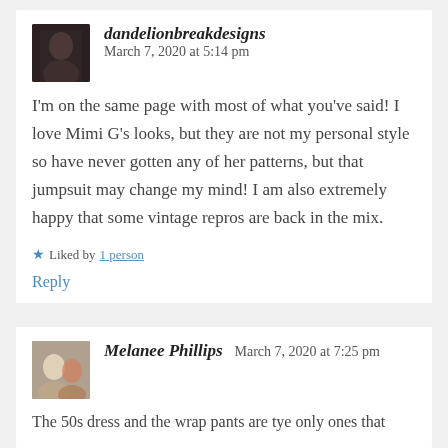dandelionbreakdesigns   March 7, 2020 at 5:14 pm
I'm on the same page with most of what you've said! I love Mimi G's looks, but they are not my personal style so have never gotten any of her patterns, but that jumpsuit may change my mind! I am also extremely happy that some vintage repros are back in the mix.
Liked by 1 person
Reply
Melanee Phillips   March 7, 2020 at 7:25 pm
The 50s dress and the wrap pants are tye only ones that